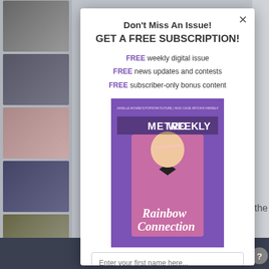Don't Miss An Issue!
GET A FREE SUBSCRIPTION!
FREE weekly digital issue
FREE news updates and contests
FREE subscriber-only bonus content
[Figure (photo): Metro Weekly magazine cover showing a man in a pink tuxedo holding glasses, with text 'Rainbow Connection']
Enter your first name here...
Enter your email address here...